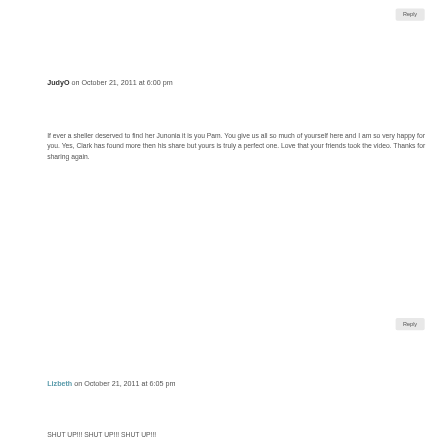Reply
JudyO on October 21, 2011 at 6:00 pm
If ever a sheller deserved to find her Junonia it is you Pam. You give us all so much of yourself here and I am so very happy for you. Yes, Clark has found more then his share but yours is truly a perfect one. Love that your friends took the video. Thanks for sharing again.
Reply
Lizbeth on October 21, 2011 at 6:05 pm
SHUT UP!!! SHUT UP!!! SHUT UP!!!